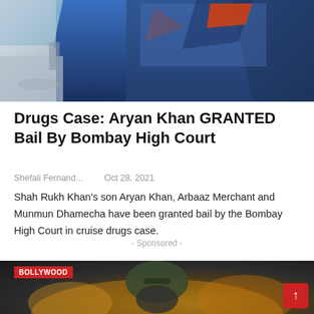[Figure (photo): Top portion of a news article page showing a person in a blue jacket near a car door]
Drugs Case: Aryan Khan GRANTED Bail By Bombay High Court
Shefali Fernand...   Oct 28, 2021
Shah Rukh Khan's son Aryan Khan, Arbaaz Merchant and Munmun Dhamecha have been granted bail by the Bombay High Court in cruise drugs case.
- Sponsored -
[Figure (photo): Bottom news card showing BOLLYWOOD tag in red with a person wearing a dark cap in a crowd with golden lights background]